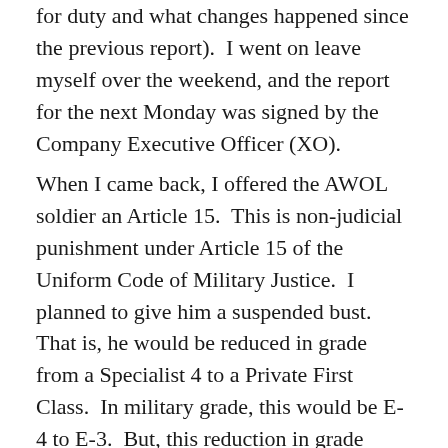for duty and what changes happened since the previous report).  I went on leave myself over the weekend, and the report for the next Monday was signed by the Company Executive Officer (XO).
When I came back, I offered the AWOL soldier an Article 15.  This is non-judicial punishment under Article 15 of the Uniform Code of Military Justice.  I planned to give him a suspended bust.  That is, he would be reduced in grade from a Specialist 4 to a Private First Class.  In military grade, this would be E-4 to E-3.  But, this reduction in grade would not take effect at all if he stayed out of trouble for the next two months, and then the paperwork would be shredded, with no record of the action.